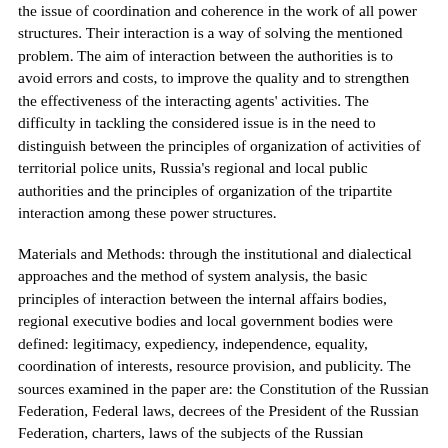the issue of coordination and coherence in the work of all power structures. Their interaction is a way of solving the mentioned problem. The aim of interaction between the authorities is to avoid errors and costs, to improve the quality and to strengthen the effectiveness of the interacting agents' activities. The difficulty in tackling the considered issue is in the need to distinguish between the principles of organization of activities of territorial police units, Russia's regional and local public authorities and the principles of organization of the tripartite interaction among these power structures.
Materials and Methods: through the institutional and dialectical approaches and the method of system analysis, the basic principles of interaction between the internal affairs bodies, regional executive bodies and local government bodies were defined: legitimacy, expediency, independence, equality, coordination of interests, resource provision, and publicity. The sources examined in the paper are: the Constitution of the Russian Federation, Federal laws, decrees of the President of the Russian Federation, charters, laws of the subjects of the Russian Federation, municipal charters and other legal acts. The empirical component of the study is based on analysis of activities of Russia's state authorities, of territorial bodies of internal affairs of the subjects of the Federation and of local administrations (the case study of the Trans-Baikal Territory). The information base was greatly widened by the